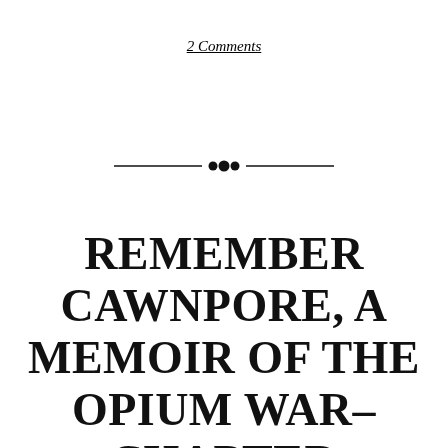2 Comments
[Figure (illustration): Decorative horizontal divider with ornamental dot cluster in the center, flanked by two horizontal lines on each side.]
REMEMBER CAWNPORE, A MEMOIR OF THE OPIUM WAR–CHAPTER IX (A TRAGIC